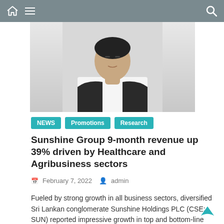[Figure (photo): Partial photo of a man in a dark suit and white shirt, shown from shoulders up, against a white background. Only the lower face and torso visible.]
NEWS
Promotions
Research
Sunshine Group 9-month revenue up 39% driven by Healthcare and Agribusiness sectors
February 7, 2022   admin
Fueled by strong growth in all business sectors, diversified Sri Lankan conglomerate Sunshine Holdings PLC (CSE: SUN) reported impressive growth in top and bottom-line performances during the first nine months of the current financial year (9MFY22).
During this period, the Group posted consolidated revenue of Rs. 24 billion, up by 39% Year-on-Year (YoY).